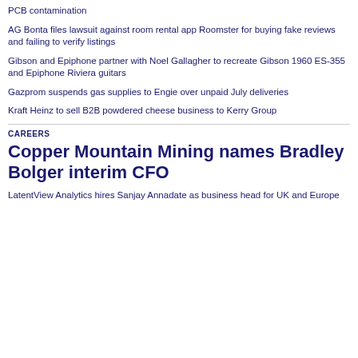PCB contamination
AG Bonta files lawsuit against room rental app Roomster for buying fake reviews and failing to verify listings
Gibson and Epiphone partner with Noel Gallagher to recreate Gibson 1960 ES-355 and Epiphone Riviera guitars
Gazprom suspends gas supplies to Engie over unpaid July deliveries
Kraft Heinz to sell B2B powdered cheese business to Kerry Group
CAREERS
Copper Mountain Mining names Bradley Bolger interim CFO
LatentView Analytics hires Sanjay Annadate as business head for UK and Europe